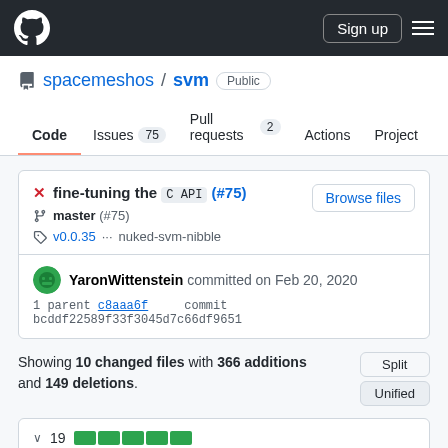GitHub header with logo, Sign up button, and menu
spacemeshos / svm Public
Code | Issues 75 | Pull requests 2 | Actions | Projects
fine-tuning the C API (#75) — Browse files — master (#75) — v0.0.35 ... nuked-svm-nibble — YaronWittenstein committed on Feb 20, 2020 — 1 parent c8aaa6f commit bcddf22589f33f3045d7c66df9651
Showing 10 changed files with 366 additions and 149 deletions.
19 [green blocks]